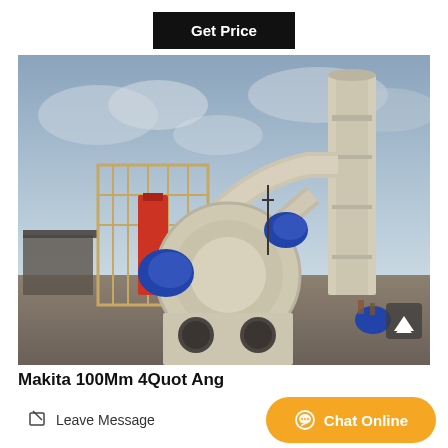Get Price
[Figure (photo): Industrial grinding mill machine with large beige/cream colored body, pipes, a red vertical component, a metal frame/cage, and blue motor covers, photographed outdoors on a construction/industrial site under a cloudy sky.]
Makita 100Mm 4Quot Ang...
Leave Message
Chat Online